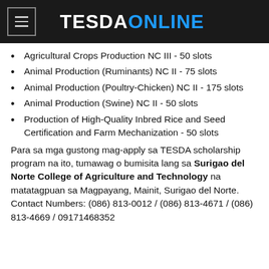TESDAONLINE
Agricultural Crops Production NC III - 50 slots
Animal Production (Ruminants) NC II - 75 slots
Animal Production (Poultry-Chicken) NC II - 175 slots
Animal Production (Swine) NC II - 50 slots
Production of High-Quality Inbred Rice and Seed Certification and Farm Mechanization - 50 slots
Para sa mga gustong mag-apply sa TESDA scholarship program na ito, tumawag o bumisita lang sa Surigao del Norte College of Agriculture and Technology na matatagpuan sa Magpayang, Mainit, Surigao del Norte.
Contact Numbers: (086) 813-0012 / (086) 813-4671 / (086) 813-4669 / 09171468352